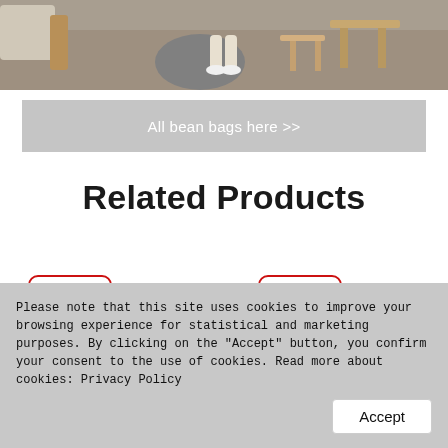[Figure (photo): Interior lifestyle photo showing a bean bag chair, person sitting, wooden side tables, and a rug in a living room setting]
All bean bags here >>
Related Products
-25%
-25%
Please note that this site uses cookies to improve your browsing experience for statistical and marketing purposes. By clicking on the "Accept" button, you confirm your consent to the use of cookies. Read more about cookies: Privacy Policy